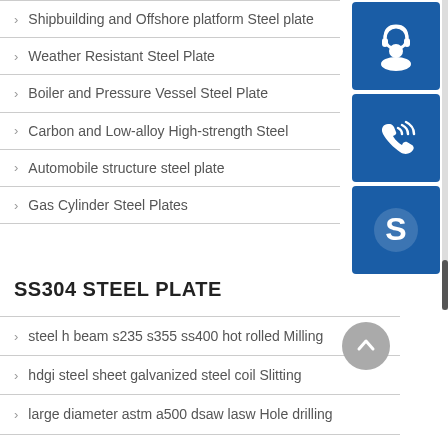Shipbuilding and Offshore platform Steel plate
Weather Resistant Steel Plate
Boiler and Pressure Vessel Steel Plate
Carbon and Low-alloy High-strength Steel
Automobile structure steel plate
Gas Cylinder Steel Plates
[Figure (illustration): Three blue square buttons: headset/support icon, phone icon, and Skype icon]
SS304 STEEL PLATE
steel h beam s235 s355 ss400 hot rolled Milling
hdgi steel sheet galvanized steel coil Slitting
large diameter astm a500 dsaw lasw Hole drilling
steel pva properties Plasma welding